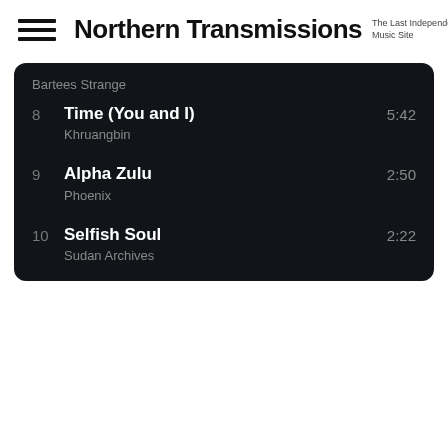Northern Transmissions — The Last Independent Music Site
Bartees Strange
8  Time (You and I)  5:42
Khruangbin
9  Alpha Zulu  2:50
Phoenix
10  Selfish Soul  2:22
Sudan Archives